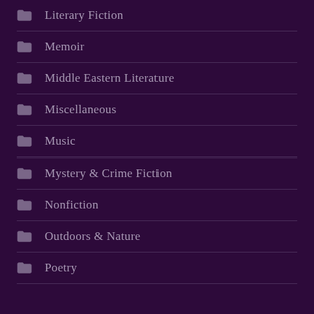Literary Fiction
Memoir
Middle Eastern Literature
Miscellaneous
Music
Mystery & Crime Fiction
Nonfiction
Outdoors & Nature
Poetry